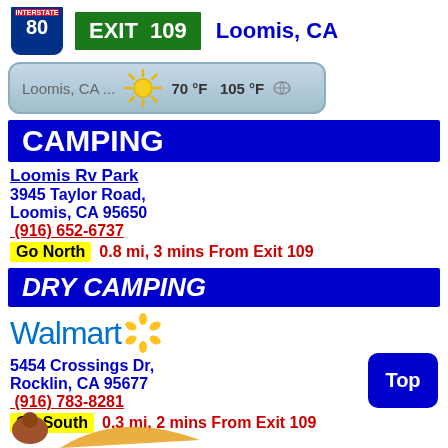[Figure (infographic): Interstate 80 shield sign and green EXIT 109 sign with 'Loomis, CA' text in blue]
[Figure (infographic): Weather bar showing Loomis, CA with sun icon, 70°F and 105°F temperatures]
CAMPING
Loomis Rv Park
3945 Taylor Road,
Loomis, CA 95650
(916) 652-6737
Go North   0.8 mi, 3 mins From Exit 109
DRY CAMPING
[Figure (logo): Walmart logo in blue with yellow spark/asterisk symbol]
5454 Crossings Dr,
Rocklin, CA 95677
(916) 783-8281
Go South  0.3 mi, 2 mins From Exit 109
[Figure (illustration): Partial bottom image showing brown and orange illustrated figures]